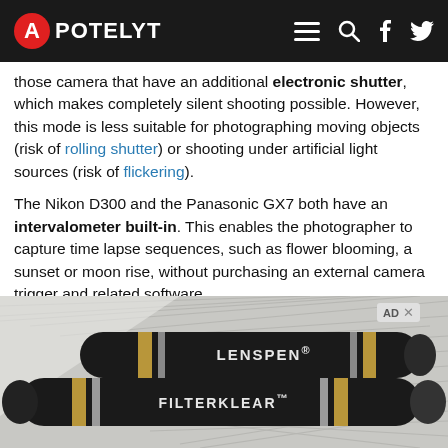APOTELYT
those camera that have an additional electronic shutter, which makes completely silent shooting possible. However, this mode is less suitable for photographing moving objects (risk of rolling shutter) or shooting under artificial light sources (risk of flickering).
The Nikon D300 and the Panasonic GX7 both have an intervalometer built-in. This enables the photographer to capture time lapse sequences, such as flower blooming, a sunset or moon rise, without purchasing an external camera trigger and related software.
The D300 writes its imaging data to Compact Flash cards, while the GX7 uses SDXC cards.
[Figure (photo): Advertisement image showing two LensPen and FilterKlear camera cleaning pen products against a stylized action background]